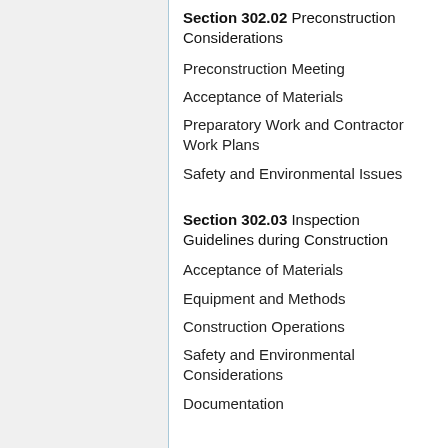Section 302.02 Preconstruction Considerations
Preconstruction Meeting
Acceptance of Materials
Preparatory Work and Contractor Work Plans
Safety and Environmental Issues
Section 302.03 Inspection Guidelines during Construction
Acceptance of Materials
Equipment and Methods
Construction Operations
Safety and Environmental Considerations
Documentation